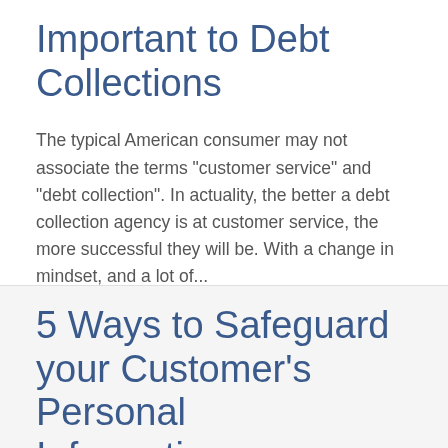Important to Debt Collections
The typical American consumer may not associate the terms "customer service" and "debt collection". In actuality, the better a debt collection agency is at customer service, the more successful they will be. With a change in mindset, and a lot of...
5 Ways to Safeguard your Customer's Personal Information...